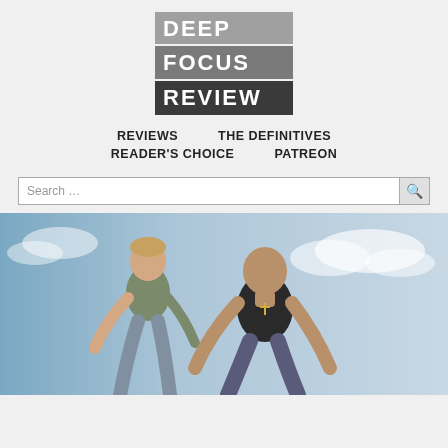[Figure (logo): Deep Focus Review logo with three stacked blocks: DEEP (light gray), FOCUS (medium gray), REVIEW (dark gray/charcoal), white bold text]
REVIEWS   THE DEFINITIVES   READER'S CHOICE   PATREON
Search ...
[Figure (photo): Two muscular men crouching against a cloudy sky background — appears to be a movie promotional still]